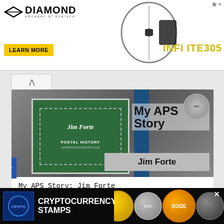[Figure (screenshot): Diamond Archery advertisement banner with bow image, 'LEARN MORE' yellow button, and 'INFINITE 305' gold text logo]
[Figure (screenshot): Card with Jim Forte Postal History stamp logo on dark background, 'My APS Story' bold title overlay, and 'Jim Forte' grey name badge]
My APS Story: Jim Forte
[Figure (screenshot): Cryptocurrency Stamps advertisement banner showing gold and silver crypto coin images]